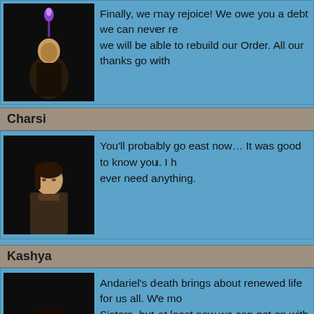[Figure (screenshot): Portrait of a robed figure with purple flame/torch above head against dark background]
Finally, we may rejoice! We owe you a debt we can never re... we will be able to rebuild our Order. All our thanks go with...
Charsi
[Figure (screenshot): Portrait of Charsi, a female blacksmith character against dark background]
You'll probably go east now… It was good to know you. I h... ever need anything.
Kashya
[Figure (screenshot): Portrait of Kashya, a female rogue character in armor against dark background]
Andariel's death brings about renewed life for us all. We mo... Sisters, but at least now we can get on with our lives. I… m... outlander. You are a true hero and testament to the noble spi... Order for generations. Fare well… my friend.
Gheed
[Figure (screenshot): Portrait of Gheed, a merchant character against dark background]
I'm going to party like it's 999!